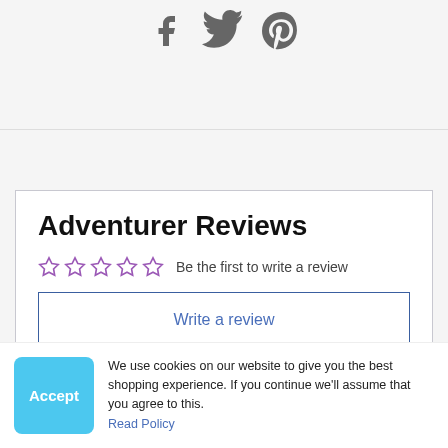[Figure (illustration): Social media share icons: Facebook, Twitter, Pinterest in gray]
Adventurer Reviews
☆☆☆☆☆ Be the first to write a review
Write a review
Ask a question
We use cookies on our website to give you the best shopping experience. If you continue we'll assume that you agree to this. Read Policy